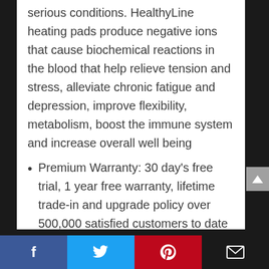serious conditions. HealthyLine heating pads produce negative ions that cause biochemical reactions in the blood that help relieve tension and stress, alleviate chronic fatigue and depression, improve flexibility, metabolism, boost the immune system and increase overall well being
Premium Warranty: 30 day's free trial, 1 year free warranty, lifetime trade-in and upgrade policy over 500,000 satisfied customers to date
Facebook | Twitter | Pinterest | Email